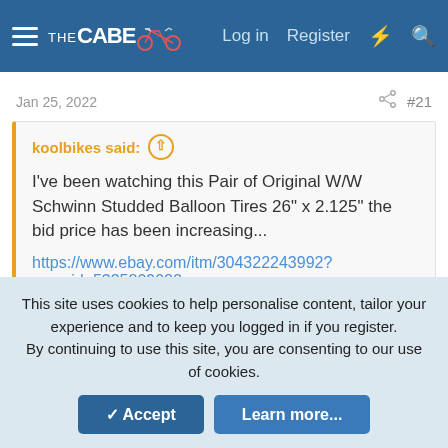THE CABE — Log in   Register
Jan 25, 2022   #21
koolbikes said: ↑

I've been watching this Pair of Original W/W Schwinn Studded Balloon Tires 26" x 2.125" the bid price has been increasing...
https://www.ebay.com/itm/304322243992?campid=5335809022
This site uses cookies to help personalise content, tailor your experience and to keep you logged in if you register. By continuing to use this site, you are consenting to our use of cookies.